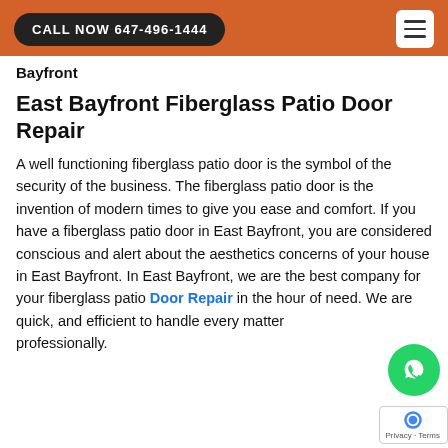CALL NOW 647-496-1444
Bayfront
East Bayfront Fiberglass Patio Door Repair
A well functioning fiberglass patio door is the symbol of the security of the business. The fiberglass patio door is the invention of modern times to give you ease and comfort. If you have a fiberglass patio door in East Bayfront, you are considered conscious and alert about the aesthetics concerns of your house in East Bayfront. In East Bayfront, we are the best company for your fiberglass patio Door Repair in the hour of need. We are quick, and efficient to handle every matter professionally.